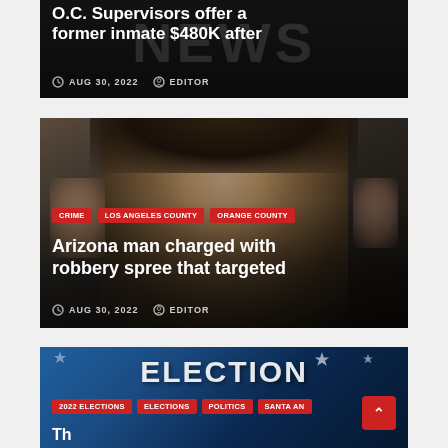[Figure (photo): News article card with dark background showing partial headline about O.C. Supervisors offering former inmate $480K]
O.C. Supervisors offer a former inmate $480K after
AUG 30, 2022  EDITOR
[Figure (photo): News article card with close-up mugshot photo of a young man with dark hair, tagged CRIME, LOS ANGELES COUNTY, ORANGE COUNTY]
Arizona man charged with robbery spree that targeted
AUG 30, 2022  EDITOR
[Figure (photo): News article card with Election graphic background, tagged 2022 ELECTIONS, ELECTIONS, POLITICS, SANTA ANA, partially visible title text at bottom]